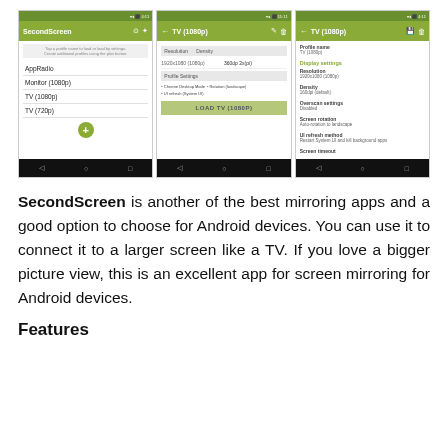[Figure (screenshot): Three Android app screenshots of SecondScreen app showing profile list, TV(1080p) settings with resolution/density info and load button, and TV(1080p) detail settings with profile name, display settings fields including resolution, density, overscan, screen rotation, UI refresh method, and screen timeout]
SecondScreen is another of the best mirroring apps and a good option to choose for Android devices. You can use it to connect it to a larger screen like a TV. If you love a bigger picture view, this is an excellent app for screen mirroring for Android devices.
Features